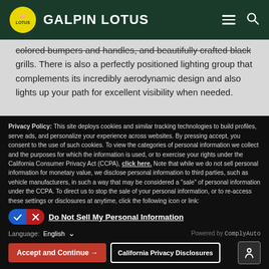GALPIN LOTUS
colored bumpers and handles, and beautifully crafted black grills. There is also a perfectly positioned lighting group that complements its incredibly aerodynamic design and also lights up your path for excellent visibility when needed.
When you enter the new 2021 Lotus Evora, you will be
Privacy Policy: This site deploys cookies and similar tracking technologies to build profiles, serve ads, and personalize your experience across websites. By pressing accept, you consent to the use of such cookies. To view the categories of personal information we collect and the purposes for which the information is used, or to exercise your rights under the California Consumer Privacy Act (CCPA), click here. Note that while we do not sell personal information for monetary value, we disclose personal information to third parties, such as vehicle manufacturers, in such a way that may be considered a "sale" of personal information under the CCPA. To direct us to stop the sale of your personal information, or to re-access these settings or disclosures at anytime, click the following icon or link:
Do Not Sell My Personal Information
Language: English
Powered by ComplyAuto
Accept and Continue →
California Privacy Disclosures